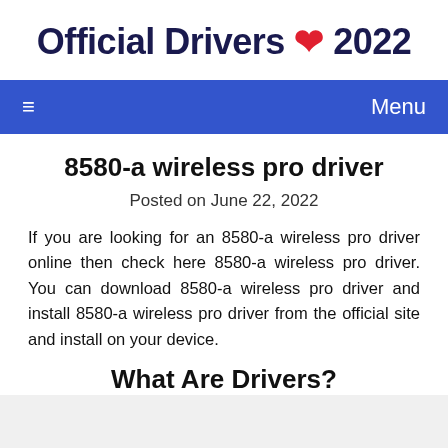Official Drivers ❤ 2022
≡  Menu
8580-a wireless pro driver
Posted on June 22, 2022
If you are looking for an 8580-a wireless pro driver online then check here 8580-a wireless pro driver. You can download 8580-a wireless pro driver and install 8580-a wireless pro driver from the official site and install on your device.
What Are Drivers?